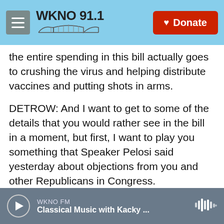WKNO 91.1 | Donate
the entire spending in this bill actually goes to crushing the virus and helping distribute vaccines and putting shots in arms.
DETROW: And I want to get to some of the details that you would rather see in the bill in a moment, but first, I want to play you something that Speaker Pelosi said yesterday about objections from you and other Republicans in Congress.
(SOUNDBITE OF ARCHIVED RECORDING)
NANCY PELOSI: We have a Democratic president - all of a sudden, many of the same features of those
WKNO FM | Classical Music with Kacky ...